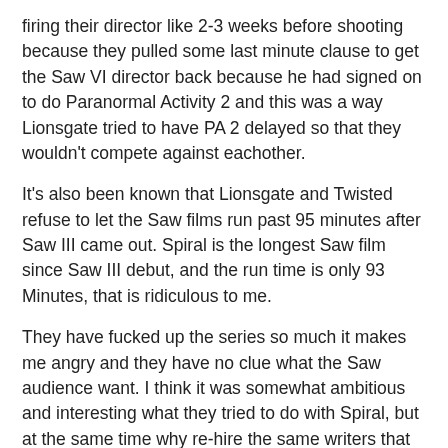firing their director like 2-3 weeks before shooting because they pulled some last minute clause to get the Saw VI director back because he had signed on to do Paranormal Activity 2 and this was a way Lionsgate tried to have PA 2 delayed so that they wouldn't compete against eachother.
It's also been known that Lionsgate and Twisted refuse to let the Saw films run past 95 minutes after Saw III came out. Spiral is the longest Saw film since Saw III debut, and the run time is only 93 Minutes, that is ridiculous to me.
They have fucked up the series so much it makes me angry and they have no clue what the Saw audience want. I think it was somewhat ambitious and interesting what they tried to do with Spiral, but at the same time why re-hire the same writers that failed to reboot the series with Jigsaw? I'm not putting all the blame on them because I know that Lionsgate/Twisted also told the directors of Jigsaw that they basically couldn't have any creative say in the film besides filming the script they were given.